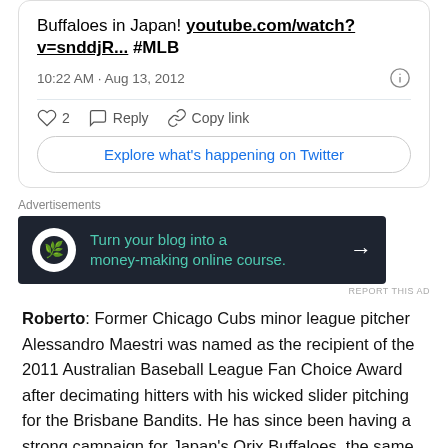Buffaloes in Japan! youtube.com/watch?v=snddjR... #MLB
10:22 AM · Aug 13, 2012
2  Reply  Copy link
Explore what's happening on Twitter
[Figure (infographic): Advertisement banner: dark background with bonsai tree icon and text 'Turn your blog into a money-making online course.' with arrow]
Roberto: Former Chicago Cubs minor league pitcher Alessandro Maestri was named as the recipient of the 2011 Australian Baseball League Fan Choice Award after decimating hitters with his wicked slider pitching for the Brisbane Bandits. He has since been having a strong campaign for Japan's Orix Buffaloes, the same team that recently signed former St. Louis